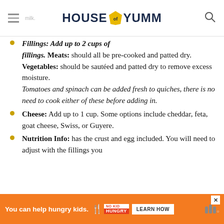House of Yumm
Fillings: Add up to 2 cups of fillings. Meats: should all be pre-cooked and patted dry. Vegetables: should be sautéed and patted dry to remove excess moisture. Tomatoes and spinach can be added fresh to quiches, there is no need to cook either of these before adding in.
Cheese: Add up to 1 cup. Some options include cheddar, feta, goat cheese, Swiss, or Guyere.
Nutrition Info: has the crust and egg included. You will need to adjust with the fillings you
[Figure (infographic): Orange advertisement banner: 'You can help hungry kids.' with No Kid Hungry logo and Learn How button]